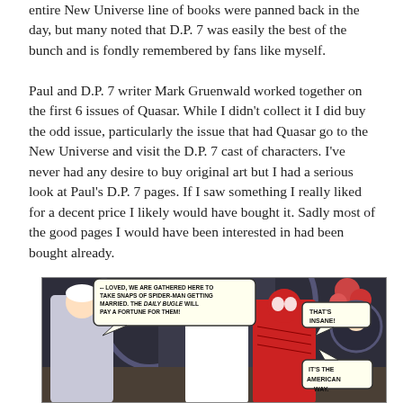entire New Universe line of books were panned back in the day, but many noted that D.P. 7 was easily the best of the bunch and is fondly remembered by fans like myself.
Paul and D.P. 7 writer Mark Gruenwald worked together on the first 6 issues of Quasar. While I didn't collect it I did buy the odd issue, particularly the issue that had Quasar go to the New Universe and visit the D.P. 7 cast of characters. I've never had any desire to buy original art but I had a serious look at Paul's D.P. 7 pages. If I saw something I really liked for a decent price I likely would have bought it. Sadly most of the good pages I would have been interested in had been bought already.
[Figure (illustration): A comic book panel showing Spider-Man at a wedding scene. A speech bubble reads '-- LOVED, WE ARE GATHERED HERE TO TAKE SNAPS OF SPIDER-MAN GETTING MARRIED. THE DAILY BUGLE WILL PAY A FORTUNE FOR THEM!' Another character responds 'THAT'S INSANE!' and a third bubble says 'IT'S THE AMERICAN WAY.' Characters include a woman in white and Spider-Man in his red and blue costume, with roses and a church interior visible.]